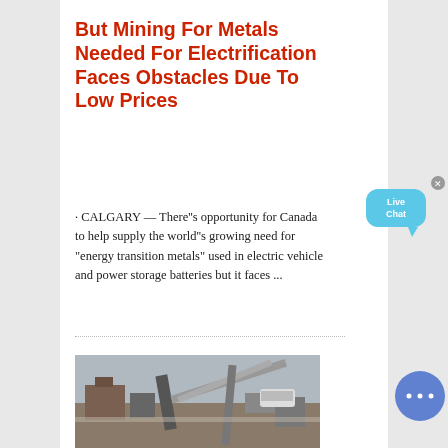But Mining For Metals Needed For Electrification Faces Obstacles Due To Low Prices
· CALGARY — There"s opportunity for Canada to help supply the world"s growing need for "energy transition metals" used in electric vehicle and power storage batteries but it faces …
[Figure (photo): Aerial or close-up view of a mining operation site with industrial equipment, structures, and machinery]
[Figure (other): Live Chat bubble widget in cyan/blue color]
[Figure (other): Round blue chat button with ellipsis dots]